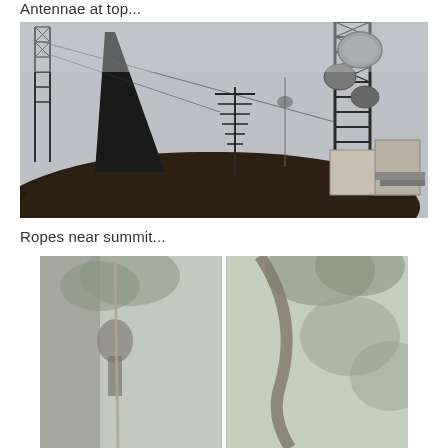Antennae at top...
[Figure (photo): Misty hilltop scene with communication towers and antennae structures rising through fog, a large dark spire on the left, lattice towers on the right with satellite dishes, and a building at the base.]
Ropes near summit...
[Figure (photo): Two side-by-side misty forest photos showing ropes or cables near a mountain summit, with tall trees and fog in the background.]